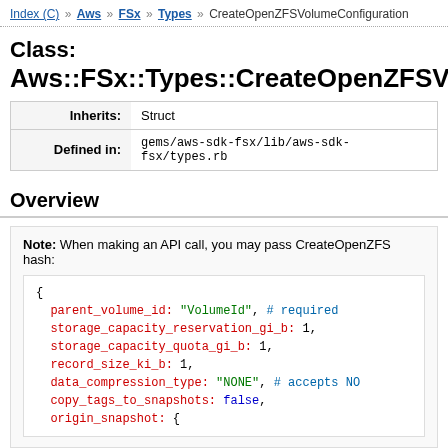Index (C) >> Aws >> FSx >> Types >> CreateOpenZFSVolumeConfiguration
Class: Aws::FSx::Types::CreateOpenZFSVo
|  |  |
| --- | --- |
| Inherits: | Struct |
| Defined in: | gems/aws-sdk-fsx/lib/aws-sdk-fsx/types.rb |
Overview
Note: When making an API call, you may pass CreateOpenZFS hash:
{
  parent_volume_id: "VolumeId", # required
  storage_capacity_reservation_gi_b: 1,
  storage_capacity_quota_gi_b: 1,
  record_size_ki_b: 1,
  data_compression_type: "NONE", # accepts NO
  copy_tags_to_snapshots: false,
  origin_snapshot: {